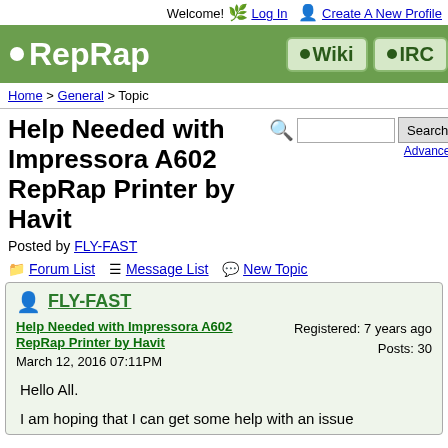Welcome! Log In Create A New Profile
[Figure (logo): RepRap logo with Wiki and IRC navigation buttons on green background]
Home > General > Topic
Help Needed with Impressora A602 RepRap Printer by Havit
Posted by FLY-FAST
Forum List  Message List  New Topic
FLY-FAST
Help Needed with Impressora A602 RepRap Printer by Havit
March 12, 2016 07:11PM
Registered: 7 years ago
Posts: 30
Hello All.
I am hoping that I can get some help with an issue